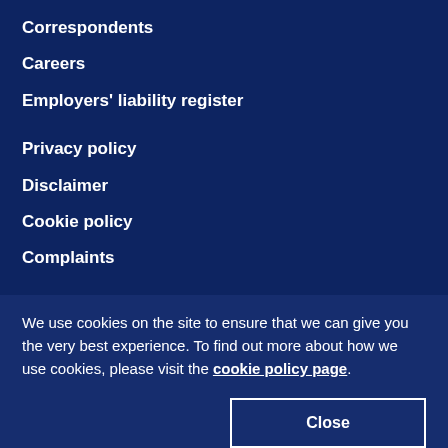Correspondents
Careers
Employers' liability register
Privacy policy
Disclaimer
Cookie policy
Complaints
We use cookies on the site to ensure that we can give you the very best experience. To find out more about how we use cookies, please visit the cookie policy page.
Close